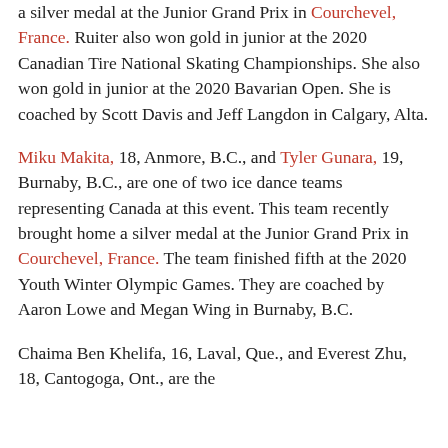a silver medal at the Junior Grand Prix in Courchevel, France. Ruiter also won gold in junior at the 2020 Canadian Tire National Skating Championships. She also won gold in junior at the 2020 Bavarian Open. She is coached by Scott Davis and Jeff Langdon in Calgary, Alta.
Miku Makita, 18, Anmore, B.C., and Tyler Gunara, 19, Burnaby, B.C., are one of two ice dance teams representing Canada at this event. This team recently brought home a silver medal at the Junior Grand Prix in Courchevel, France. The team finished fifth at the 2020 Youth Winter Olympic Games. They are coached by Aaron Lowe and Megan Wing in Burnaby, B.C.
Chaima Ben Khelifa, 16, Laval, Que., and Everest Zhu, 18, Cantogoga, Ont., are the